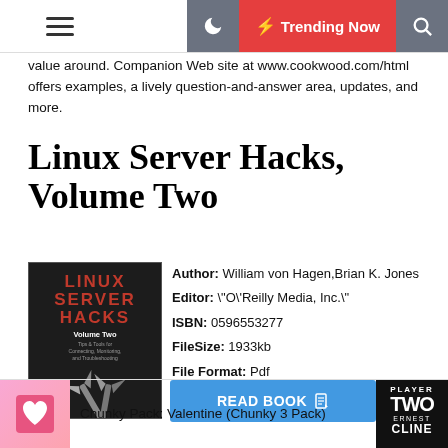Trending Now
value around. Companion Web site at www.cookwood.com/html offers examples, a lively question-and-answer area, updates, and more.
Linux Server Hacks, Volume Two
[Figure (photo): Book cover of Linux Server Hacks Volume Two showing axes and red title text on dark background]
Author: William von Hagen,Brian K. Jones
Editor: "O'Reilly Media, Inc."
ISBN: 0596553277
FileSize: 1933kb
File Format: Pdf
Read: 1933
READ BOOK
Chunky Pack: Valentine (Chunky 3 Pack)